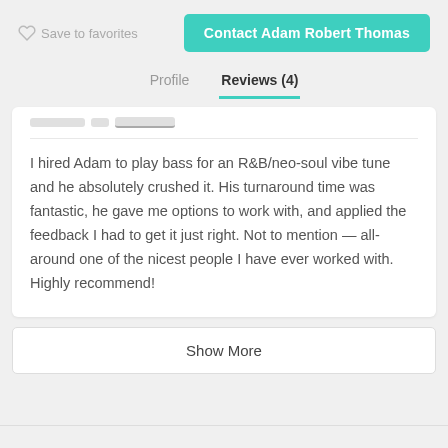Save to favorites
Contact Adam Robert Thomas
Profile
Reviews (4)
I hired Adam to play bass for an R&B/neo-soul vibe tune and he absolutely crushed it. His turnaround time was fantastic, he gave me options to work with, and applied the feedback I had to get it just right. Not to mention — all-around one of the nicest people I have ever worked with. Highly recommend!
Show More